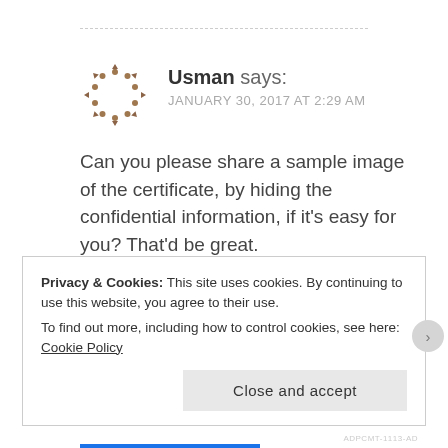Usman says: JANUARY 30, 2017 AT 2:29 AM
Can you please share a sample image of the certificate, by hiding the confidential information, if it's easy for you? That'd be great.
My email id is muhammad.u.iftikhar@gmail.com
Privacy & Cookies: This site uses cookies. By continuing to use this website, you agree to their use.
To find out more, including how to control cookies, see here: Cookie Policy
Close and accept